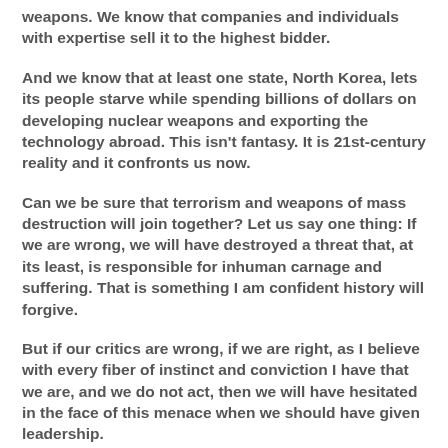weapons. We know that companies and individuals with expertise sell it to the highest bidder.
And we know that at least one state, North Korea, lets its people starve while spending billions of dollars on developing nuclear weapons and exporting the technology abroad. This isn't fantasy. It is 21st-century reality and it confronts us now.
Can we be sure that terrorism and weapons of mass destruction will join together? Let us say one thing: If we are wrong, we will have destroyed a threat that, at its least, is responsible for inhuman carnage and suffering. That is something I am confident history will forgive.
But if our critics are wrong, if we are right, as I believe with every fiber of instinct and conviction I have that we are, and we do not act, then we will have hesitated in the face of this menace when we should have given leadership.
That is something history will not forgive.